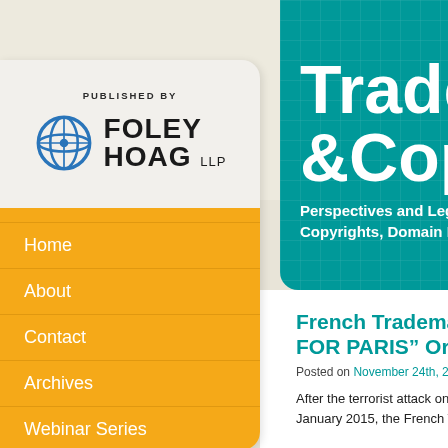[Figure (logo): Foley Hoag LLP logo with globe icon, 'PUBLISHED BY' label above]
Home
About
Contact
Archives
Webinar Series
Trademark & Copyright
Perspectives and Legal D... Copyrights, Domain Dispu...
French Trademark... FOR PARIS" Or "...
Posted on November 24th, 2015 by C...
After the terrorist attack on C... January 2015, the French T...